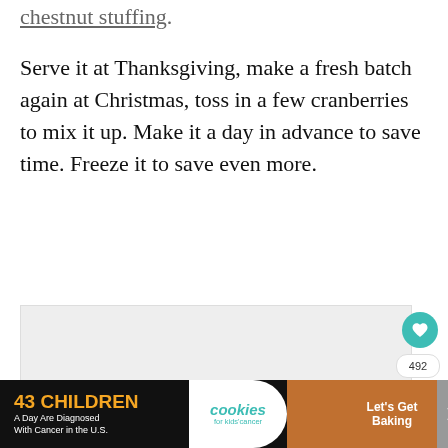chestnut stuffing.
Serve it at Thanksgiving, make a fresh batch again at Christmas, toss in a few cranberries to mix it up. Make it a day in advance to save time. Freeze it to save even more.
[Figure (other): Light gray rectangular image placeholder area]
[Figure (screenshot): Advertisement banner: '43 CHILDREN A Day Are Diagnosed With Cancer in the U.S.' with cookies for kids' cancer logo and 'Let's Get Baking' section]